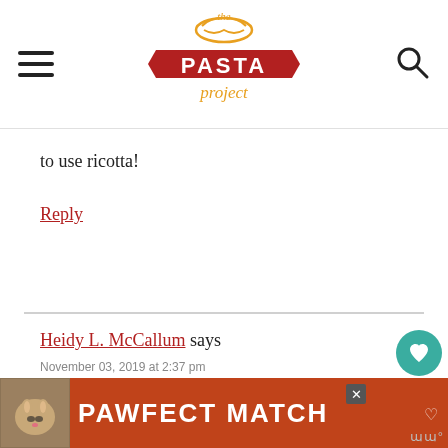[Figure (logo): The Pasta Project logo with noodle graphic, red banner and orange cursive text]
to use ricotta!
Reply
Heidy L. McCallum says
November 03, 2019 at 2:37 pm
[Figure (other): Five gold star rating]
[Figure (other): PAWFECT MATCH advertisement banner with cat image]